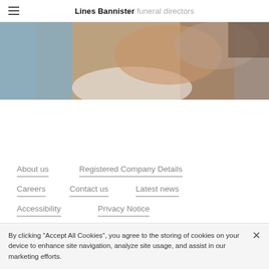Lines Bannister funeral directors
[Figure (photo): Close-up photo of hands, partially visible, warm tones with blue background elements — top portion of a webpage hero image]
About us
Registered Company Details
Careers
Contact us
Latest news
Accessibility
Privacy Notice
[Figure (logo): National Association circular badge logo (black and white), NAFD large bold text, and a blue royal warrant / bird logo]
By clicking "Accept All Cookies", you agree to the storing of cookies on your device to enhance site navigation, analyze site usage, and assist in our marketing efforts.